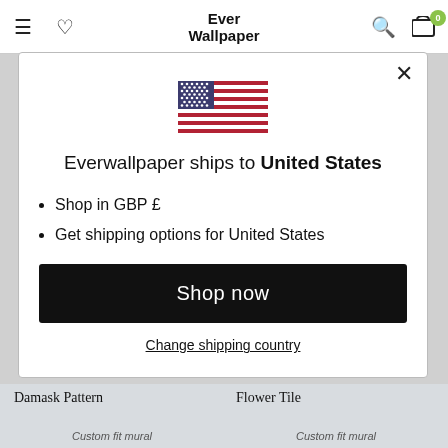Ever Wallpaper
[Figure (screenshot): Modal dialog showing US flag and shipping options for United States on Everwallpaper website]
Everwallpaper ships to United States
Shop in GBP £
Get shipping options for United States
Shop now
Change shipping country
Damask Pattern
Flower Tile
Custom fit mural
Custom fit mural